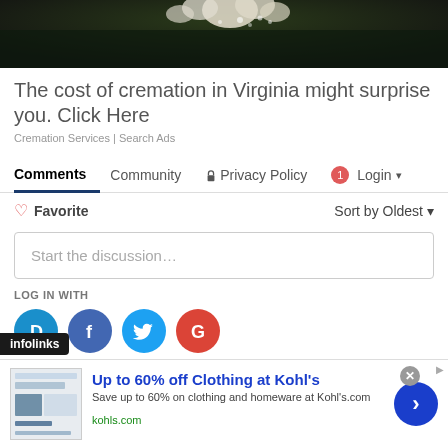[Figure (photo): Top portion of a floral/garden photo, dark background with white flowers visible at top]
The cost of cremation in Virginia might surprise you. Click Here
Cremation Services | Search Ads
Comments  Community  🔒 Privacy Policy  1 Login ▾
♡ Favorite   Sort by Oldest ▾
Start the discussion…
LOG IN WITH
[Figure (screenshot): Social login icons: Disqus (D), Facebook (F), Twitter bird, Google (G)]
infolinks
Up to 60% off Clothing at Kohl's
Save up to 60% on clothing and homeware at Kohl's.com
kohls.com